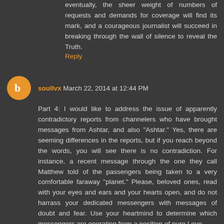eventually, the sheer weight of numbers of requests and demands for coverage will find its mark, and a courageous journalist will succeed in breaking through the wall of silence to reveal the Truth.
Reply
soullvx March 22, 2014 at 12:44 PM
Part 4: I would like to address the issue of apparently contradictory reports from channelers who have brought messages from Ashtar, and also "Ashtar." Yes, there are seeming differences in the reports, but if you reach beyond the words, you will see there is no contradiction. For instance, a recent message through the one they call Matthew told of the passengers being taken to a very comfortable faraway "planet." Please, beloved ones, read with your eyes and ears and your hearts open, and do not harrass your dedicated messengers with messages of doubt and fear. Use your heartmind to determine which messengers are operating from a position of pure Love.